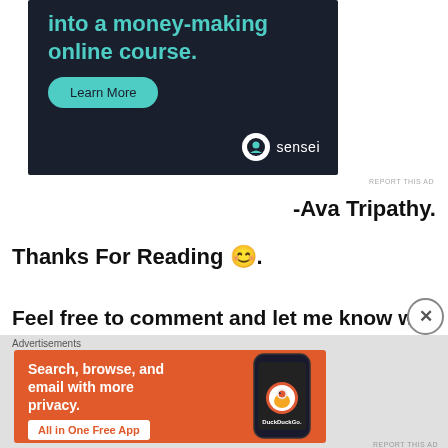[Figure (screenshot): Dark navy advertisement banner for Sensei with teal text reading 'into a money-making online course.' and a teal Learn More button, with the Sensei logo at bottom right]
REPORT THIS AD
-Ava Tripathy.
Thanks For Reading 😊.
Feel free to comment and let me know what do you...
Advertisements
[Figure (screenshot): Orange DuckDuckGo advertisement banner: 'Search, browse, and email with more privacy. All in One Free App' with phone mockup showing DuckDuckGo logo]